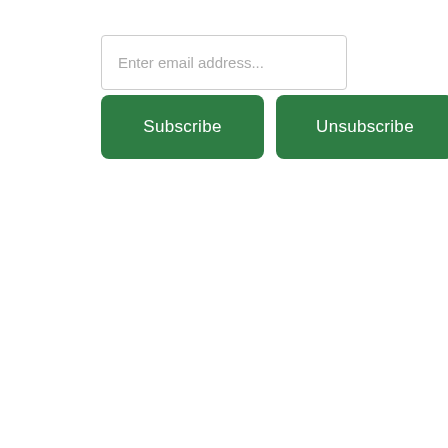Enter email address...
Subscribe
Unsubscribe